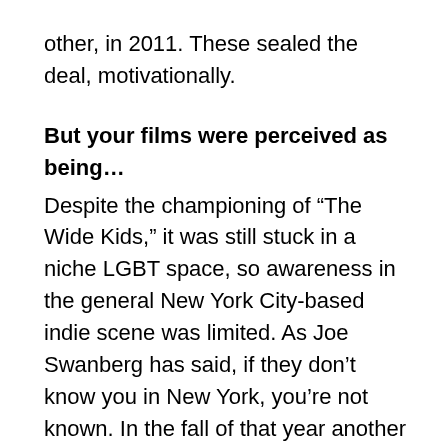other, in 2011. These sealed the deal, motivationally.
But your films were perceived as being…
Despite the championing of “The Wide Kids,” it was still stuck in a niche LGBT space, so awareness in the general New York City-based indie scene was limited. As Joe Swanberg has said, if they don’t know you in New York, you’re not known. In the fall of that year another very important person came into my life, when Brooklyn-based critic Aaron Hillis saw “The Wise Kids” at Sidewalk Film Festival in Birmingham, Alabama and started championing it to non-LGBT spaces, even going on to book it